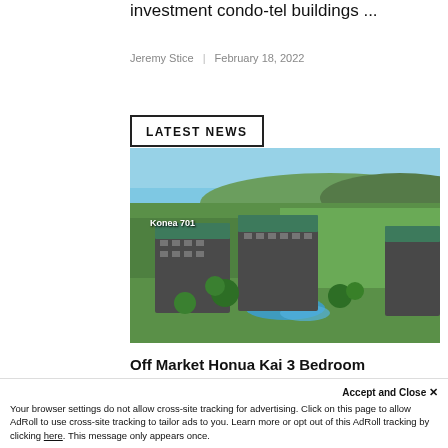investment condo-tel buildings ...
Jeremy Stice | February 18, 2022
LATEST NEWS
[Figure (photo): Aerial drone photo of Honua Kai resort condo buildings with green roofs surrounded by tropical landscaping and green hills in the background. Text overlay reads 'Konea 701'.]
Off Market Honua Kai 3 Bedroom
Penthouse Sold by Jeremy Stice for
Accept and Close ✕
Your browser settings do not allow cross-site tracking for advertising. Click on this page to allow AdRoll to use cross-site tracking to tailor ads to you. Learn more or opt out of this AdRoll tracking by clicking here. This message only appears once.